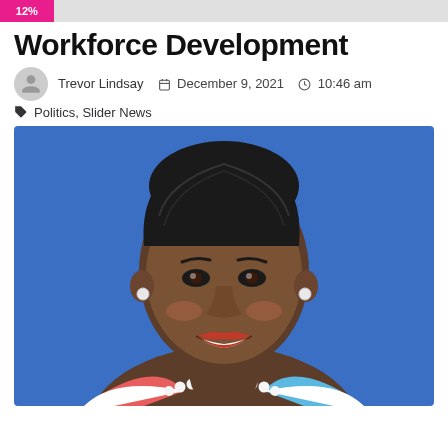[Figure (infographic): Horizontal progress bar showing 12% in pink/magenta on a light gray background]
Workforce Development
Trevor Lindsay  December 9, 2021  10:46 am
Politics, Slider News
[Figure (photo): Professional headshot of a smiling woman with braided hair, red lipstick, pearl necklace, and colorful blazer against a blue background]